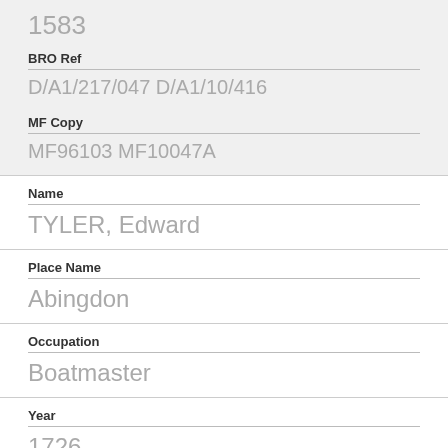1583
BRO Ref
D/A1/217/047 D/A1/10/416
MF Copy
MF96103 MF10047A
Name
TYLER, Edward
Place Name
Abingdon
Occupation
Boatmaster
Year
1726